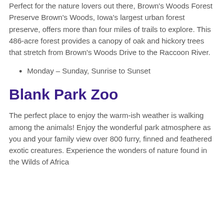Perfect for the nature lovers out there, Brown's Woods Forest Preserve Brown's Woods, Iowa's largest urban forest preserve, offers more than four miles of trails to explore. This 486-acre forest provides a canopy of oak and hickory trees that stretch from Brown's Woods Drive to the Raccoon River.
Monday – Sunday, Sunrise to Sunset
Blank Park Zoo
The perfect place to enjoy the warm-ish weather is walking among the animals! Enjoy the wonderful park atmosphere as you and your family view over 800 furry, finned and feathered exotic creatures. Experience the wonders of nature found in the Wilds of Africa